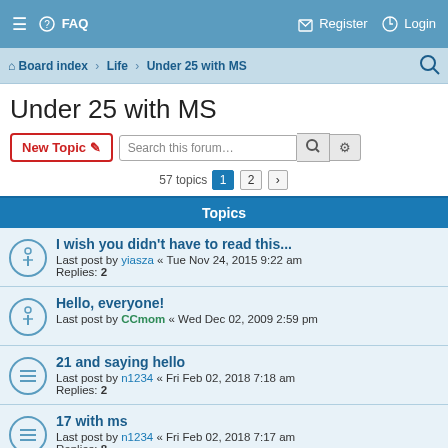≡  FAQ    Register  Login
Board index › Life › Under 25 with MS
Under 25 with MS
New Topic  Search this forum...  57 topics  1  2  →
Topics
I wish you didn't have to read this... Last post by yiasza « Tue Nov 24, 2015 9:22 am Replies: 2
Hello, everyone! Last post by CCmom « Wed Dec 02, 2009 2:59 pm
21 and saying hello Last post by n1234 « Fri Feb 02, 2018 7:18 am Replies: 2
17 with ms Last post by n1234 « Fri Feb 02, 2018 7:17 am Replies: 8